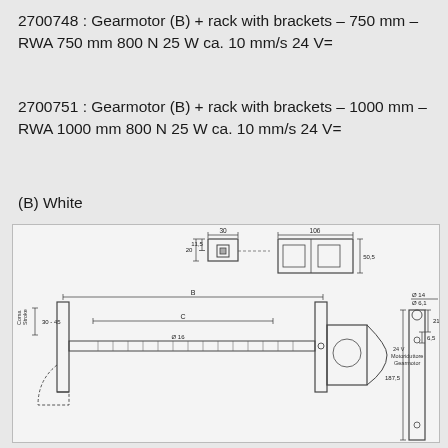2700748 : Gearmotor (B) + rack with brackets – 750 mm – RWA 750 mm 800 N 25 W ca. 10 mm/s 24 V=
2700751 : Gearmotor (B) + rack with brackets – 1000 mm – RWA 1000 mm 800 N 25 W ca. 10 mm/s 24 V=
(B) White
[Figure (engineering-diagram): Technical engineering drawing showing a gearmotor rack with brackets system, including front view with dimensions B and C spans, cross-sections showing Ø 16 rack, side detail views with dimensions 30, 106, 11.5, 20, 50.5, and right-side detail with Ø 14, Ø 6.1, 21.5, 6.5, 187.5 measurements. Label shows 24 V Motoriduttore Gearmotor. Corsa Stroke 30-45 noted on left.]